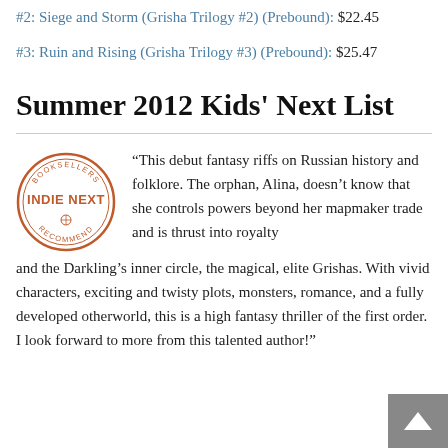#2: Siege and Storm (Grisha Trilogy #2) (Prebound): $22.45
#3: Ruin and Rising (Grisha Trilogy #3) (Prebound): $25.47
Summer 2012 Kids' Next List
“This debut fantasy riffs on Russian history and folklore. The orphan, Alina, doesn’t know that she controls powers beyond her mapmaker trade and is thrust into royalty and the Darkling’s inner circle, the magical, elite Grishas. With vivid characters, exciting and twisty plots, monsters, romance, and a fully developed otherworld, this is a high fantasy thriller of the first order. I look forward to more from this talented author!”